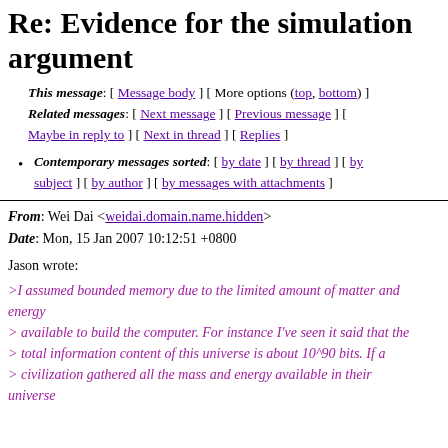Re: Evidence for the simulation argument
This message: [ Message body ] [ More options (top, bottom) ]
Related messages: [ Next message ] [ Previous message ] [ Maybe in reply to ] [ Next in thread ] [ Replies ]
Contemporary messages sorted: [ by date ] [ by thread ] [ by subject ] [ by author ] [ by messages with attachments ]
From: Wei Dai <weidai.domain.name.hidden>
Date: Mon, 15 Jan 2007 10:12:51 +0800
Jason wrote:
>I assumed bounded memory due to the limited amount of matter and energy
> available to build the computer. For instance I've seen it said that the
> total information content of this universe is about 10^90 bits. If a
> civilization gathered all the mass and energy available in their
universe